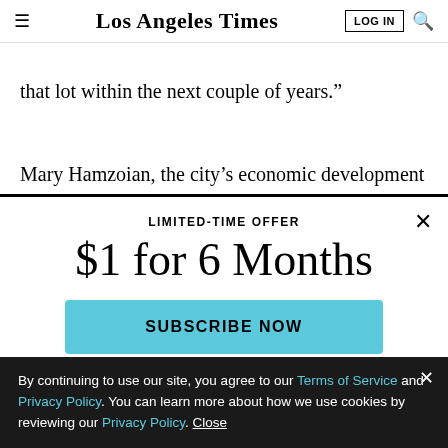Los Angeles Times | LOG IN | Search
that lot within the next couple of years.”
Mary Hamzoian, the city’s economic development manager, said that although Burbank isn’t worried about losing one show, or one studio, “we are the media
LIMITED-TIME OFFER
$1 for 6 Months
SUBSCRIBE NOW
By continuing to use our site, you agree to our Terms of Service and Privacy Policy. You can learn more about how we use cookies by reviewing our Privacy Policy. Close